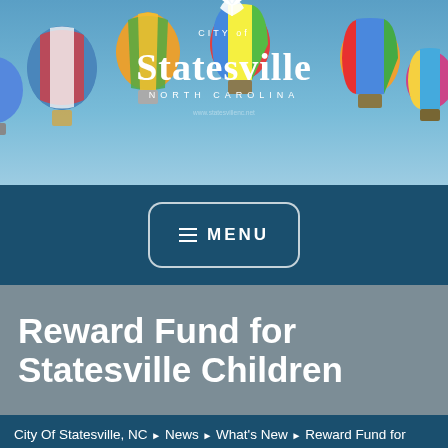[Figure (photo): Header banner photo showing colorful hot air balloons in a blue sky with City of Statesville North Carolina logo overlay in white text]
[Figure (screenshot): Dark teal navigation bar with a MENU button (hamburger icon) centered, white border rounded rectangle button]
Reward Fund for Statesville Children
City Of Statesville, NC ▶ News ▶ What's New ▶ Reward Fund for Statesville Children
[Figure (screenshot): Dark navy/teal action bar with print icon and share icon buttons, and bottom partial MENU button on rust/terracotta background]